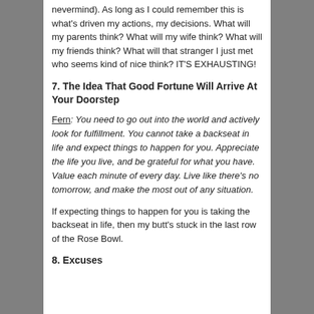nevermind). As long as I could remember this is what's driven my actions, my decisions. What will my parents think? What will my wife think? What will my friends think? What will that stranger I just met who seems kind of nice think? IT'S EXHAUSTING!
7. The Idea That Good Fortune Will Arrive At Your Doorstep
Fern: You need to go out into the world and actively look for fulfillment. You cannot take a backseat in life and expect things to happen for you. Appreciate the life you live, and be grateful for what you have. Value each minute of every day. Live like there's no tomorrow, and make the most out of any situation.
If expecting things to happen for you is taking the backseat in life, then my butt's stuck in the last row of the Rose Bowl.
8. Excuses